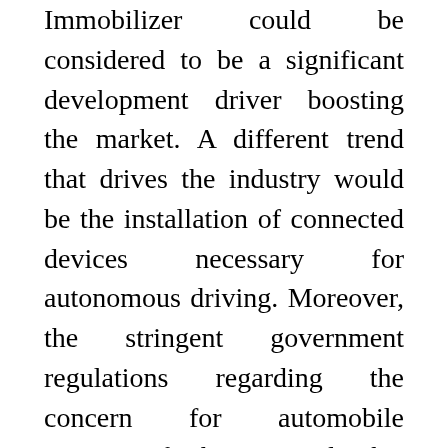Immobilizer could be considered to be a significant development driver boosting the market. A different trend that drives the industry would be the installation of connected devices necessary for autonomous driving. Moreover, the stringent government regulations regarding the concern for automobile security further propel this technology market place. As per the recent marketplace, study reports the Automotive End-Point Authentication Market place is poised towards a major growth phase. Geographically, the